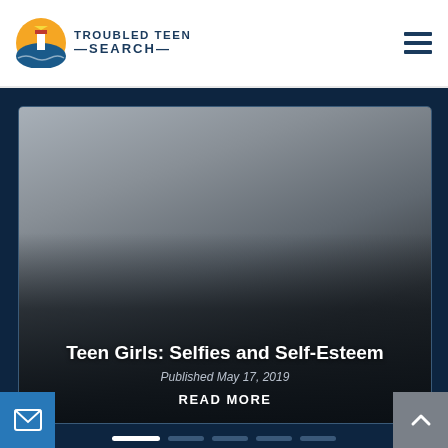[Figure (logo): Troubled Teen Search logo with lighthouse icon in orange/blue circle and text 'TROUBLED TEEN SEARCH']
[Figure (screenshot): Website hero slideshow card showing article 'Teen Girls: Selfies and Self-Esteem' published May 17, 2019 with READ MORE link, over dark gradient background]
Teen Girls: Selfies and Self-Esteem
Published May 17, 2019
READ MORE